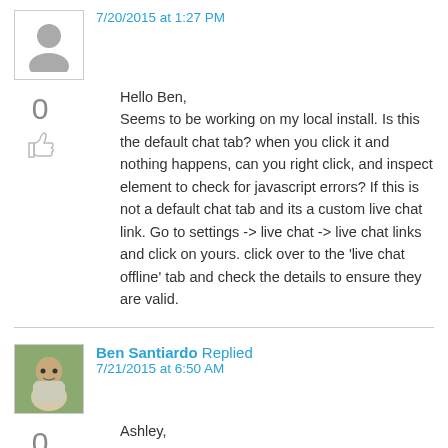7/20/2015 at 1:27 PM
0
Hello Ben,
Seems to be working on my local install. Is this the default chat tab? when you click it and nothing happens, can you right click, and inspect element to check for javascript errors? If this is not a default chat tab and its a custom live chat link. Go to settings -> live chat -> live chat links and click on yours. click over to the 'live chat offline' tab and check the details to ensure they are valid.
Ben Santiardo Replied
7/21/2015 at 6:50 AM
0
Ashley,

This is the default live chat tab, no modifications have been made to it. I tested in both Chrome and MSIE, neither browser seems to report any JavaScript...